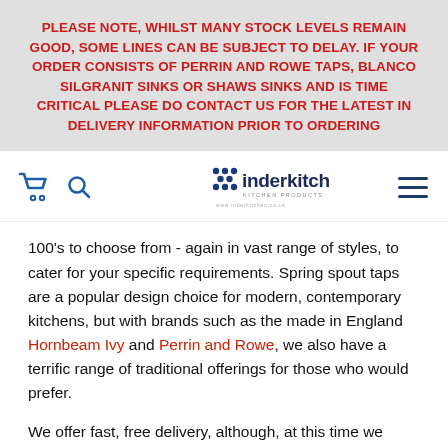PLEASE NOTE, WHILST MANY STOCK LEVELS REMAIN GOOD, SOME LINES CAN BE SUBJECT TO DELAY. IF YOUR ORDER CONSISTS OF PERRIN AND ROWE TAPS, BLANCO SILGRANIT SINKS OR SHAWS SINKS AND IS TIME CRITICAL PLEASE DO CONTACT US FOR THE LATEST IN DELIVERY INFORMATION PRIOR TO ORDERING
[Figure (logo): Inderkitchen logo with blue dot grid and text 'inderkitchen KITCHEN PRODUCTS']
100's to choose from - again in vast range of styles, to cater for your specific requirements. Spring spout taps are a popular design choice for modern, contemporary kitchens, but with brands such as the made in England Hornbeam Ivy and Perrin and Rowe, we also have a terrific range of traditional offerings for those who would prefer.
We offer fast, free delivery, although, at this time we regret